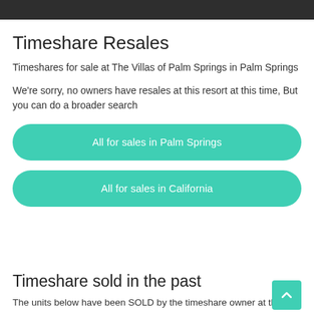[Figure (photo): Dark header image bar at top of page]
Timeshare Resales
Timeshares for sale at The Villas of Palm Springs in Palm Springs
We're sorry, no owners have resales at this resort at this time, But you can do a broader search
All for sales in Palm Springs
All for sales in California
Timeshare sold in the past
The units below have been SOLD by the timeshare owner at this